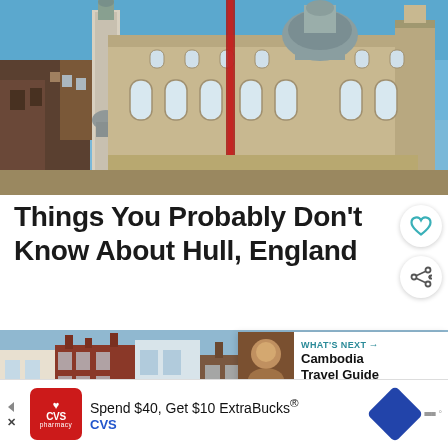[Figure (photo): Photograph of Hull city hall and monument statue against a blue sky, with red poppy installation cascading down the building facade]
Things You Probably Don't Know About Hull, England
[Figure (photo): Photograph of colourful terraced buildings and rooftops in Hull, England]
WHAT'S NEXT → Cambodia Travel Guide
Spend $40, Get $10 ExtraBucks® CVS